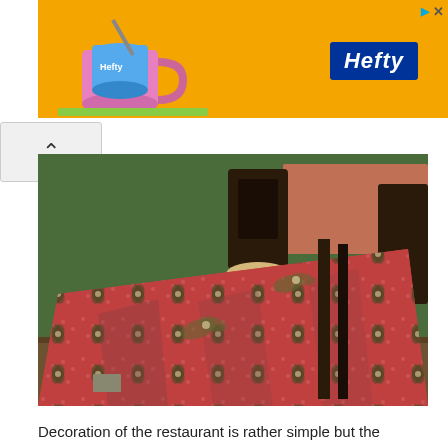[Figure (photo): Advertisement banner with orange background showing Hefty brand logo in blue box on right and a pink/blue illustrated cup on the left side]
[Figure (photo): Restaurant interior photo showing a table covered with a red/pink floral patterned batik tablecloth, with dark wooden chairs, green walls, and another similar table visible in the background]
Decoration of the restaurant is rather simple but the feeling to be in here is just unique.